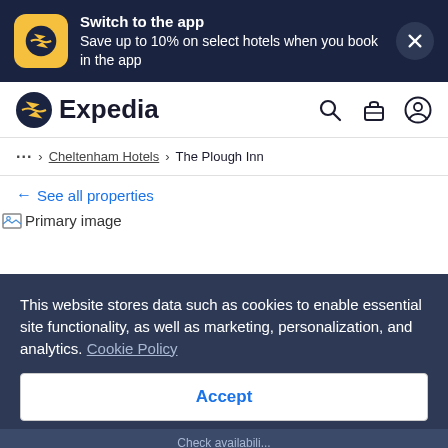[Figure (screenshot): App banner with Expedia app icon (yellow rounded square with airplane), text 'Switch to the app / Save up to 10% on select hotels when you book in the app', and close (X) button on dark navy background]
[Figure (logo): Expedia logo with circular icon and 'Expedia' wordmark, plus search, briefcase, and account icons in navigation bar]
... > Cheltenham Hotels > The Plough Inn
← See all properties
[Figure (photo): Primary image placeholder (broken image icon with alt text)]
This website stores data such as cookies to enable essential site functionality, as well as marketing, personalization, and analytics. Cookie Policy
Accept
Deny